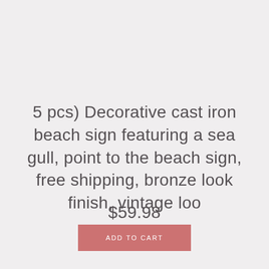5 pcs) Decorative cast iron beach sign featuring a sea gull, point to the beach sign, free shipping, bronze look finish, vintage loo
$59.98
ADD TO CART